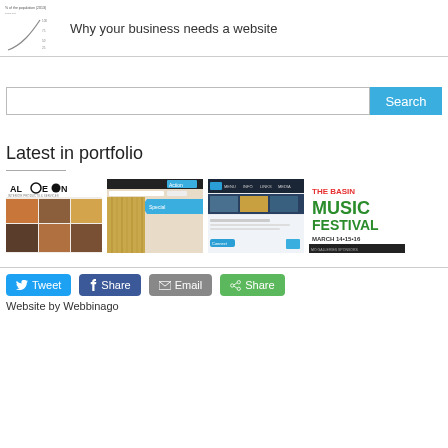[Figure (continuous-plot): Small thumbnail of a line chart showing percentage of the population (2013) over time, with an upward curve]
Why your business needs a website
[Figure (screenshot): Search bar with text input and blue Search button]
Latest in portfolio
[Figure (screenshot): ALOEON website portfolio thumbnail with logo and image gallery grid]
[Figure (screenshot): Website portfolio thumbnail with curtain/drapes image and blue ribbon element]
[Figure (screenshot): Website portfolio thumbnail with dark header and content]
[Figure (screenshot): THE BASIN MUSIC FESTIVAL poster - March 14, 15, 16 with green and red text on white]
[Figure (screenshot): Social sharing buttons: Tweet (blue), Share (Facebook blue), Email (grey), Share (green)]
Website by Webbinago